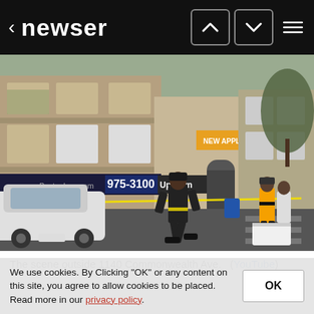< newser
[Figure (photo): Street scene outside 1140 Commonwealth Ave with firefighters, police tape, a white SUV, and a multi-story brick building with signs reading 975-3100 and UpTown.]
The scene outside 1140 Commonwealth Ave.  (YouTube)
We use cookies. By Clicking "OK" or any content on this site, you agree to allow cookies to be placed. Read more in our privacy policy.